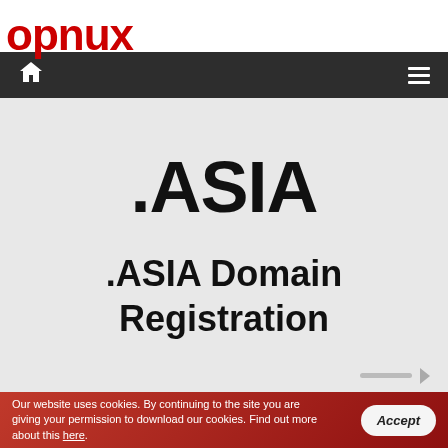opnux
.ASIA
.ASIA Domain Registration
Our website uses cookies. By continuing to the site you are giving your permission to download our cookies. Find out more about this here.